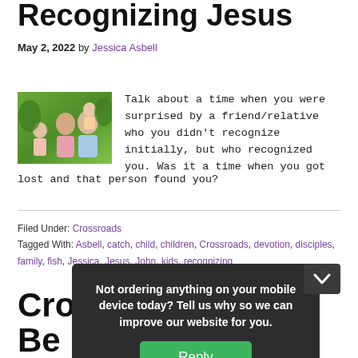Recognizing Jesus
May 2, 2022 by Jessica Asbell
[Figure (photo): Family photo with parents and two young children outdoors with green background]
Talk about a time when you were surprised by a friend/relative who you didn't recognize initially, but who recognized you. Was it a time when you got lost and that person found you?
Filed Under: Crossroads
Tagged With: Asbell, catch, child, children, Crossroads, devotion, disciples, family, fish, Jessica, Jesus, John, kids, recognizing
Cro... Be...
Not ordering anything on your mobile device today? Tell us why so we can improve our website for you.